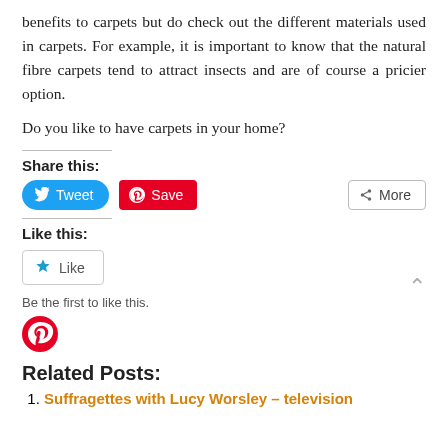benefits to carpets but do check out the different materials used in carpets. For example, it is important to know that the natural fibre carpets tend to attract insects and are of course a pricier option.
Do you like to have carpets in your home?
Share this:
[Figure (infographic): Social sharing buttons: Tweet (Twitter, blue), Save (Pinterest, red), More (grey outline)]
Like this:
[Figure (infographic): Like button widget with star icon and text 'Like']
Be the first to like this.
[Figure (logo): Pinterest circular red and white logo icon]
Related Posts:
Suffragettes with Lucy Worsley – television